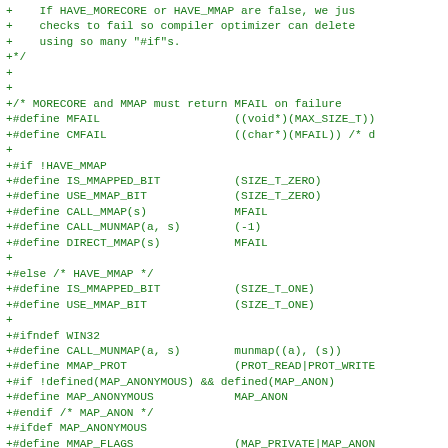+    If HAVE_MORECORE or HAVE_MMAP are false, we jus
+    checks to fail so compiler optimizer can delete
+    using so many "#if"s.
+*/
+
+
+/* MORECORE and MMAP must return MFAIL on failure
+#define MFAIL                    ((void*)(MAX_SIZE_T))
+#define CMFAIL                   ((char*)(MFAIL)) /* d
+
+#if !HAVE_MMAP
+#define IS_MMAPPED_BIT           (SIZE_T_ZERO)
+#define USE_MMAP_BIT             (SIZE_T_ZERO)
+#define CALL_MMAP(s)             MFAIL
+#define CALL_MUNMAP(a, s)        (-1)
+#define DIRECT_MMAP(s)           MFAIL
+
+#else /* HAVE_MMAP */
+#define IS_MMAPPED_BIT           (SIZE_T_ONE)
+#define USE_MMAP_BIT             (SIZE_T_ONE)
+
+#ifndef WIN32
+#define CALL_MUNMAP(a, s)        munmap((a), (s))
+#define MMAP_PROT                (PROT_READ|PROT_WRITE
+#if !defined(MAP_ANONYMOUS) && defined(MAP_ANON)
+#define MAP_ANONYMOUS            MAP_ANON
+#endif /* MAP_ANON */
+#ifdef MAP_ANONYMOUS
+#define MMAP_FLAGS               (MAP_PRIVATE|MAP_ANON
+#define CALL_MMAP(s)             mmap(0, (s), MMAP_PRO